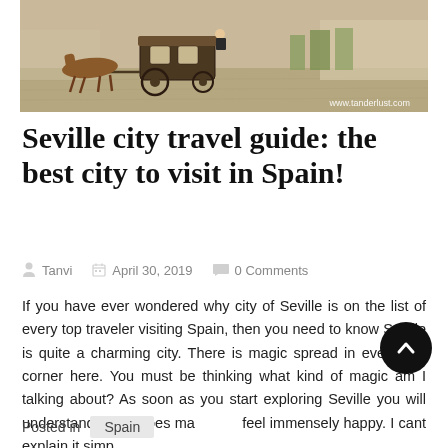[Figure (photo): Photograph of a horse-drawn carriage on a sandy plaza, watermark 'www.tanderlust.com' at bottom right]
Seville city travel guide: the best city to visit in Spain!
Tanvi   April 30, 2019   0 Comments
If you have ever wondered why city of Seville is on the list of every top traveler visiting Spain, then you need to know Seville is quite a charming city. There is magic spread in every tiny corner here. You must be thinking what kind of magic am I talking about? As soon as you start exploring Seville you will understand that it does ma...e feel immensely happy. I cant explain it simp...
Posted in   Spain